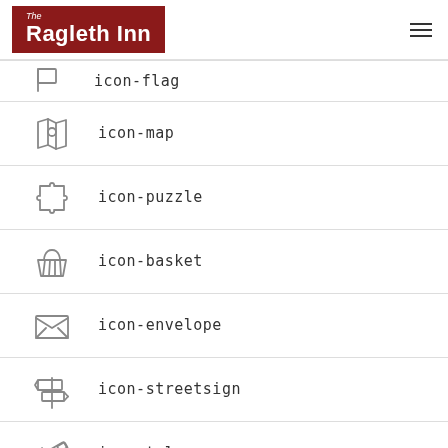The Ragleth Inn
icon-flag
icon-map
icon-puzzle
icon-basket
icon-envelope
icon-streetsign
icon-telescope
(partial row)